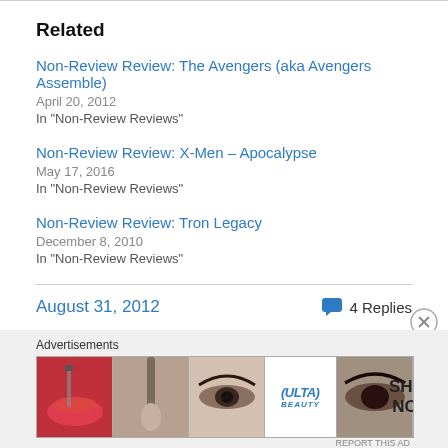Related
Non-Review Review: The Avengers (aka Avengers Assemble)
April 20, 2012
In "Non-Review Reviews"
Non-Review Review: X-Men – Apocalypse
May 17, 2016
In "Non-Review Reviews"
Non-Review Review: Tron Legacy
December 8, 2010
In "Non-Review Reviews"
August 31, 2012
4 Replies
Advertisements
[Figure (other): ULTA beauty advertisement banner with makeup/cosmetics imagery and SHOP NOW call to action]